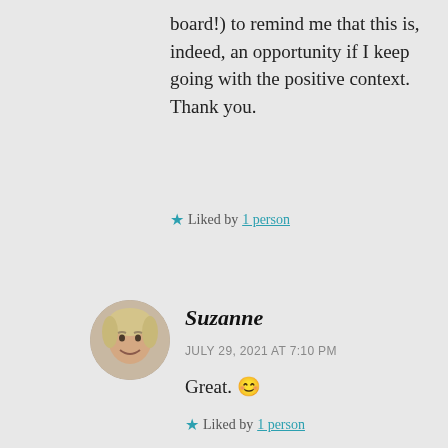board!) to remind me that this is, indeed, an opportunity if I keep going with the positive context. Thank you.
★ Liked by 1 person
[Figure (photo): Circular avatar photo of a woman with short light hair, smiling, against a light background.]
Suzanne
JULY 29, 2021 AT 7:10 PM
Great. 😊
★ Liked by 1 person